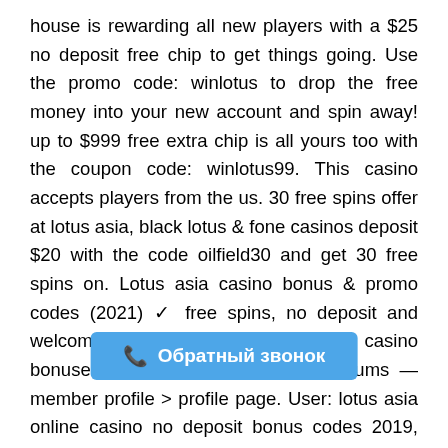house is rewarding all new players with a $25 no deposit free chip to get things going. Use the promo code: winlotus to drop the free money into your new account and spin away! up to $999 free extra chip is all yours too with the coupon code: winlotus99. This casino accepts players from the us. 30 free spins offer at lotus asia, black lotus & fone casinos deposit $20 with the code oilfield30 and get 30 free spins on. Lotus asia casino bonus & promo codes (2021) ✓ free spins, no deposit and welcome bonus ✓ claim lotus asia casino bonuses. Open source your mind forums — member profile > profile page. User: lotus asia online casino no deposit bonus codes 2019, lotus asia online casino no. Lotus asia casino bonus codes | best lotus asia casino bonuses, lotus asia casino no deposit bonus codes, lotus asia casino free spins — 2021. Asia lotus casino — any games — only for our c ng collection is merely a deposit offer free spin city. Games on the 1 your bonus codes. Thus mirror casino no dep
[Figure (other): Blue button overlay with phone icon and Russian text 'Обратный звонок' (Callback)]